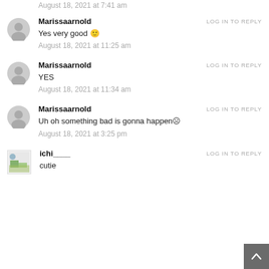August 18, 2021 at 7:41 am
Marissaarnold
LOG IN TO REPLY
Yes very good 🙂
August 18, 2021 at 11:25 am
Marissaarnold
LOG IN TO REPLY
YES
August 18, 2021 at 11:34 am
Marissaarnold
LOG IN TO REPLY
Uh oh something bad is gonna happen☹
August 18, 2021 at 3:25 pm
ichi____
LOG IN TO REPLY
cutie